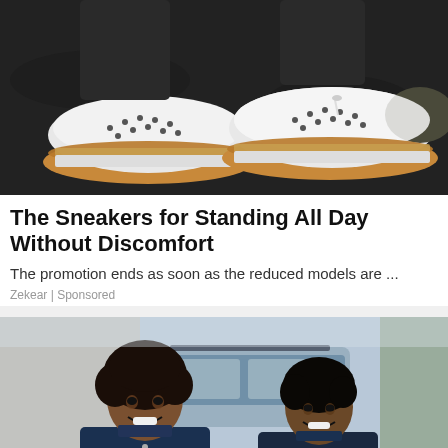[Figure (photo): Top-down view of white sneakers with tan/brown sole trim and studded perforations, worn by a person standing on dark asphalt pavement]
The Sneakers for Standing All Day Without Discomfort
The promotion ends as soon as the reduced models are ...
Zekear | Sponsored
[Figure (photo): Two smiling women in dark blue uniforms standing near a vehicle outdoors on a sunny day]